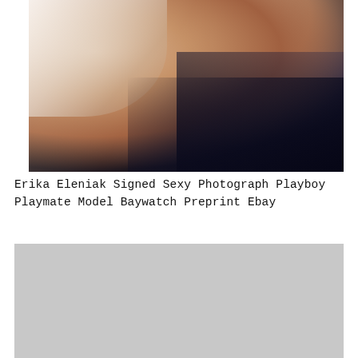[Figure (photo): Close-up photograph showing a person's midsection with light-colored fabric/shirt, skin tones in warm browns, with dark background elements]
Erika Eleniak Signed Sexy Photograph Playboy Playmate Model Baywatch Preprint Ebay
[Figure (photo): Light gray placeholder image, second photo not loaded]